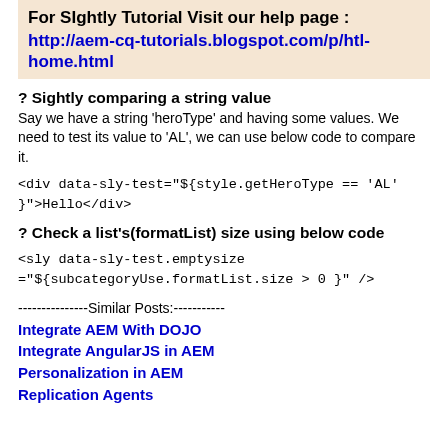For SIghtly Tutorial Visit our help page : http://aem-cq-tutorials.blogspot.com/p/htl-home.html
? Sightly comparing a string value
Say we have a string 'heroType' and having some values. We need to test its value to 'AL', we can use below code to compare it.
<div data-sly-test="${style.getHeroType == 'AL' }">Hello</div>
? Check a list's(formatList) size using below code
<sly data-sly-test.emptysize ="${subcategoryUse.formatList.size > 0 }" />
---------------Similar Posts:-----------
Integrate AEM With DOJO
Integrate AngularJS in AEM
Personalization in AEM
Replication Agents